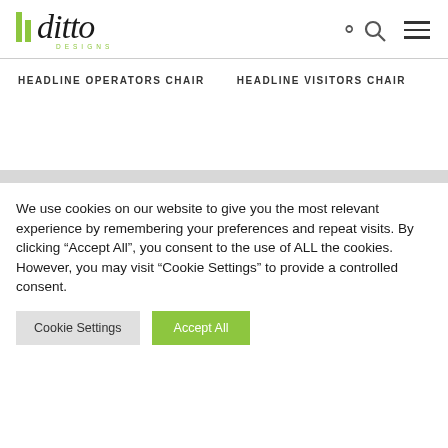[Figure (logo): Ditto Designs logo with green vertical bars and stylized italic script text with 'DESIGNS' subtitle in green]
HEADLINE OPERATORS CHAIR
HEADLINE VISITORS CHAIR
We use cookies on our website to give you the most relevant experience by remembering your preferences and repeat visits. By clicking "Accept All", you consent to the use of ALL the cookies. However, you may visit "Cookie Settings" to provide a controlled consent.
Cookie Settings | Accept All